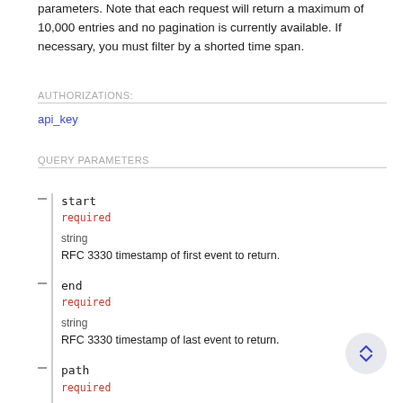parameters. Note that each request will return a maximum of 10,000 entries and no pagination is currently available. If necessary, you must filter by a shorted time span.
AUTHORIZATIONS:
api_key
QUERY PARAMETERS
start
required
string
RFC 3330 timestamp of first event to return.
end
required
string
RFC 3330 timestamp of last event to return.
path
required
string